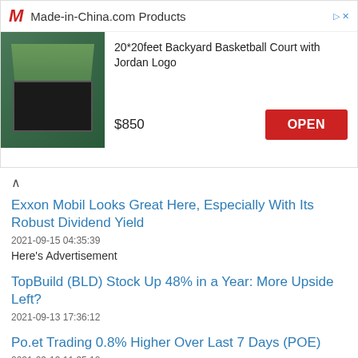[Figure (screenshot): Advertisement banner for Made-in-China.com showing a 20*20feet Backyard Basketball Court with Jordan Logo priced at $850 with an OPEN button]
Here's Advertisement
Exxon Mobil Looks Great Here, Especially With Its Robust Dividend Yield
2021-09-15 04:35:39
TopBuild (BLD) Stock Up 48% in a Year: More Upside Left?
2021-09-13 17:36:12
Po.et Trading 0.8% Higher Over Last 7 Days (POE)
2021-09-13 11:35:18
Lululemon Blows Through Its Earnings Targets
2021-09-13 10:35:26
7 Best Green Energy Stocks to Buy